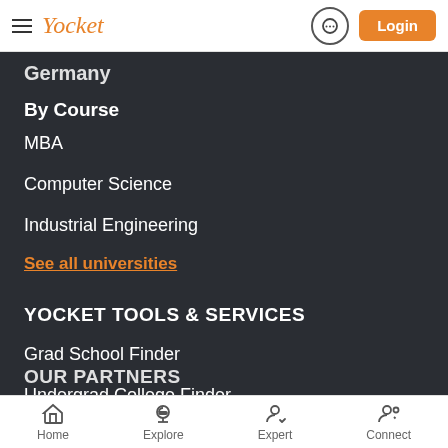Yocket — Login
Germany
By Course
MBA
Computer Science
Industrial Engineering
See all universities
YOCKET TOOLS & SERVICES
Grad School Finder
Undergrad College Finder
OUR PARTNERS
Home | Explore | Expert | Connect